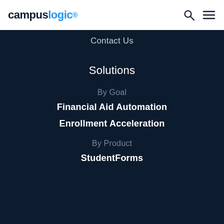[Figure (logo): CampusLogic logo with 'campus' in dark navy and 'logic' in blue with registered trademark symbol]
[Figure (other): Search icon (magnifying glass) in dark navy]
[Figure (other): Hamburger menu icon (three horizontal lines) in dark navy]
Contact Us
Solutions
By Goal
Financial Aid Automation
Enrollment Acceleration
By Product
StudentForms